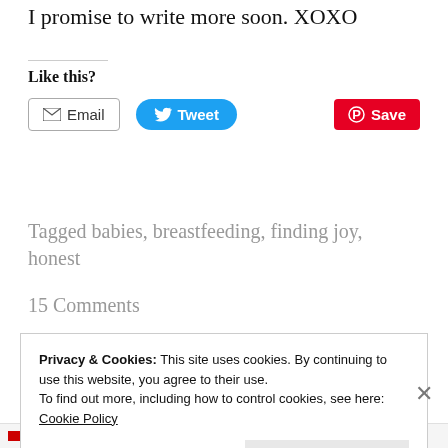I promise to write more soon. XOXO
Like this?
[Figure (screenshot): Social sharing buttons: Email, Tweet, Save]
Tagged babies, breastfeeding, finding joy, honest
15 Comments
Privacy & Cookies: This site uses cookies. By continuing to use this website, you agree to their use. To find out more, including how to control cookies, see here: Cookie Policy
Close and accept